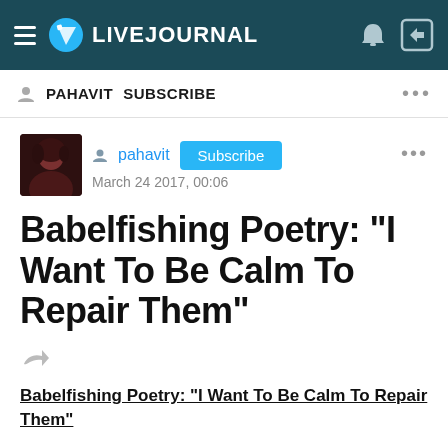LIVEJOURNAL
PAHAVIT   SUBSCRIBE
pahavit   Subscribe
March 24 2017, 00:06
Babelfishing Poetry: "I Want To Be Calm To Repair Them"
Babelfishing Poetry: "I Want To Be Calm To Repair Them"